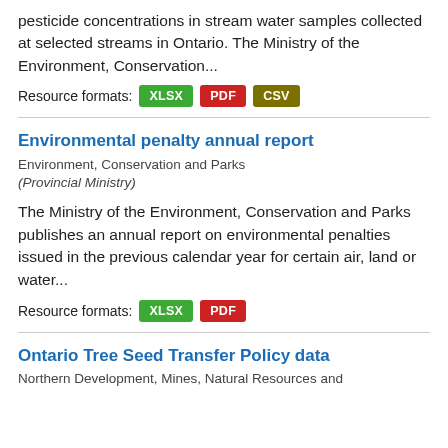pesticide concentrations in stream water samples collected at selected streams in Ontario. The Ministry of the Environment, Conservation...
Resource formats: XLSX PDF CSV
Environmental penalty annual report
Environment, Conservation and Parks (Provincial Ministry)
The Ministry of the Environment, Conservation and Parks publishes an annual report on environmental penalties issued in the previous calendar year for certain air, land or water...
Resource formats: XLSX PDF
Ontario Tree Seed Transfer Policy data
Northern Development, Mines, Natural Resources and